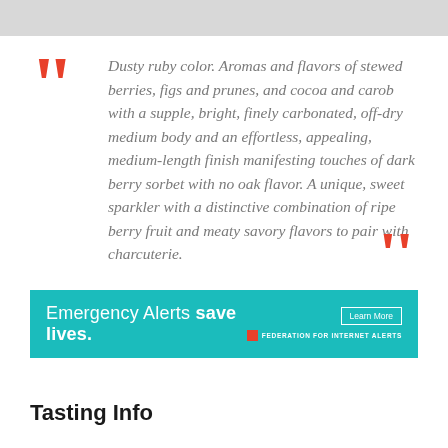Dusty ruby color. Aromas and flavors of stewed berries, figs and prunes, and cocoa and carob with a supple, bright, finely carbonated, off-dry medium body and an effortless, appealing, medium-length finish manifesting touches of dark berry sorbet with no oak flavor. A unique, sweet sparkler with a distinctive combination of ripe berry fruit and meaty savory flavors to pair with charcuterie.
[Figure (infographic): Teal/cyan advertisement banner: 'Emergency Alerts save lives.' with a Learn More button and FEDERATION FOR INTERNET ALERTS logo with red square icon.]
Tasting Info